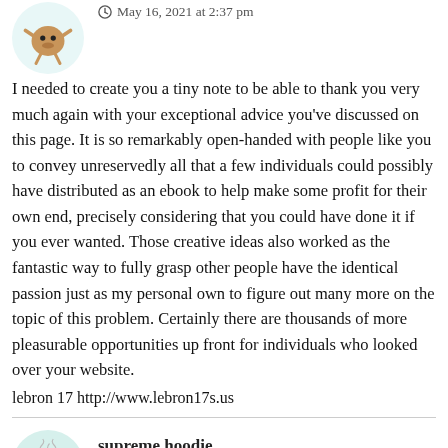May 16, 2021 at 2:37 pm
I needed to create you a tiny note to be able to thank you very much again with your exceptional advice you’ve discussed on this page. It is so remarkably open-handed with people like you to convey unreservedly all that a few individuals could possibly have distributed as an ebook to help make some profit for their own end, precisely considering that you could have done it if you ever wanted. Those creative ideas also worked as the fantastic way to fully grasp other people have the identical passion just as my personal own to figure out many more on the topic of this problem. Certainly there are thousands of more pleasurable opportunities up front for individuals who looked over your website.
lebron 17 http://www.lebron17s.us
supreme hoodie
May 18, 2021 at 4:59 am
I have to convey my gratitude for your kindness for all those that need help with in this concept. Your personal